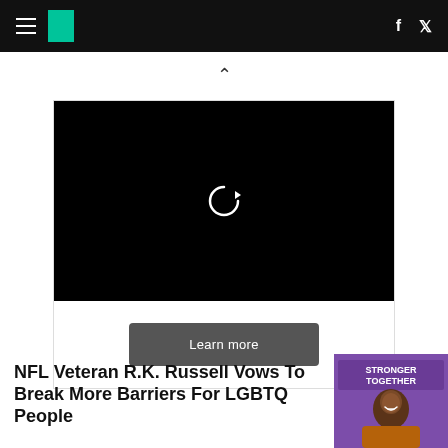HuffPost navigation header with hamburger menu, logo, Facebook and Twitter icons
[Figure (screenshot): Black video player with replay/refresh icon in center and a dark gray 'Learn more' button below]
NFL Veteran R.K. Russell Vows To Break More Barriers For LGBTQ People
[Figure (photo): Photo of a smiling Black man in a brown/orange jacket, with a purple 'Stronger Together' banner in the background]